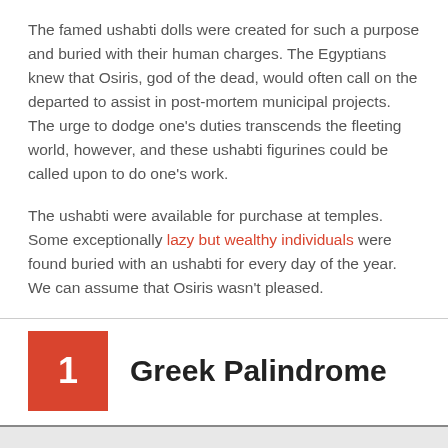The famed ushabti dolls were created for such a purpose and buried with their human charges. The Egyptians knew that Osiris, god of the dead, would often call on the departed to assist in post-mortem municipal projects. The urge to dodge one’s duties transcends the fleeting world, however, and these ushabti figurines could be called upon to do one’s work.
The ushabti were available for purchase at temples. Some exceptionally lazy but wealthy individuals were found buried with an ushabti for every day of the year. We can assume that Osiris wasn’t pleased.
1  Greek Palindrome